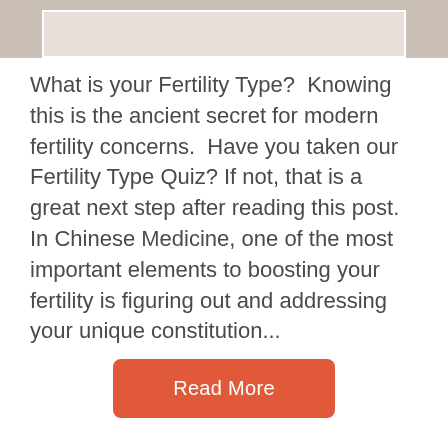[Figure (photo): Partial photograph of a person with beige/tan background, cropped at top of page, with a white-bordered inner frame visible]
What is your Fertility Type?  Knowing this is the ancient secret for modern fertility concerns.  Have you taken our Fertility Type Quiz? If not, that is a great next step after reading this post. In Chinese Medicine, one of the most important elements to boosting your fertility is figuring out and addressing your unique constitution...
Read More